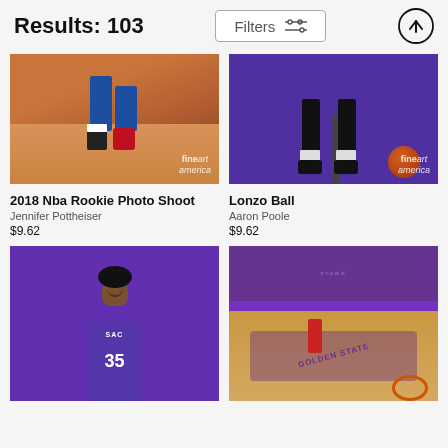Results: 103
[Figure (photo): Close-up of basketball player's feet in red Nike shoes and Philadelphia 76ers blue shorts on a hardwood court with fine art america watermark]
2018 Nba Rookie Photo Shoot
Jennifer Pottheiser
$9.62
[Figure (photo): Close-up of basketball player's legs, black shoes, white socks, sitting on a stool with a basketball on a purple background with fine art america watermark]
Lonzo Ball
Aaron Poole
$9.62
[Figure (photo): Basketball player wearing SAC jersey number 35 smiling, standing against a purple background]
[Figure (photo): Basketball game action shot from above showing players on a Sacramento Kings court with purple design]